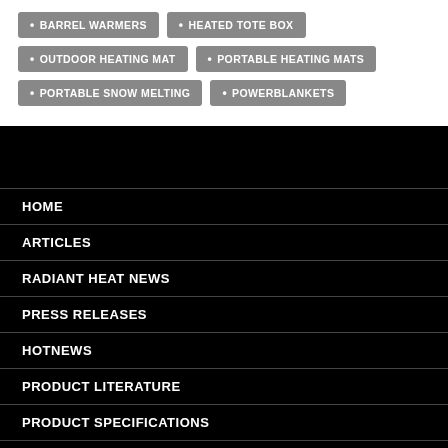BARREL WARMERS
HEATED TOTE BOX
OUTDOOR HEATING MAT
PORTABLE HEATING MATS
PORTABLE SNOW MELTING
POWERBLANKETS
HOME
ARTICLES
RADIANT HEAT NEWS
PRESS RELEASES
HOTNEWS
PRODUCT LITERATURE
PRODUCT SPECIFICATIONS
VIDEOS